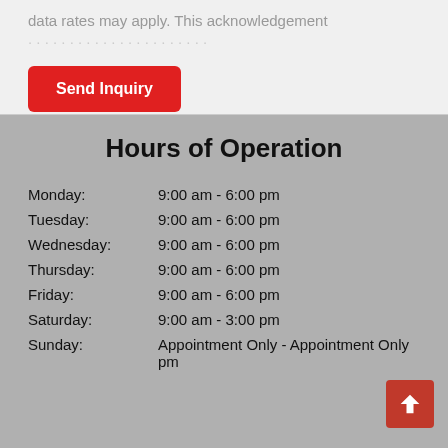data rates may apply. This acknowledgement
[Figure (screenshot): Red 'Send Inquiry' button]
Hours of Operation
| Day | Hours |
| --- | --- |
| Monday: | 9:00 am - 6:00 pm |
| Tuesday: | 9:00 am - 6:00 pm |
| Wednesday: | 9:00 am - 6:00 pm |
| Thursday: | 9:00 am - 6:00 pm |
| Friday: | 9:00 am - 6:00 pm |
| Saturday: | 9:00 am - 3:00 pm |
| Sunday: | Appointment Only - Appointment Only pm |